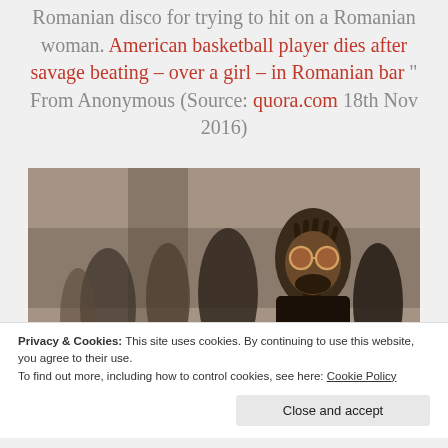Romanian disco for trying to hit on a Romanian woman. American basketball player dies after savage beating – over a girl – in Romanian bar " From Anonymous (Source: quora.com 18th Nov 2016)
[Figure (photo): A man with dreadlocks and round tinted sunglasses stands outdoors in an urban street scene. Text overlay reads 'Adventures of an Afro-Gypsy']
Privacy & Cookies: This site uses cookies. By continuing to use this website, you agree to their use.
To find out more, including how to control cookies, see here: Cookie Policy
Close and accept
some people. For me gypsy has always